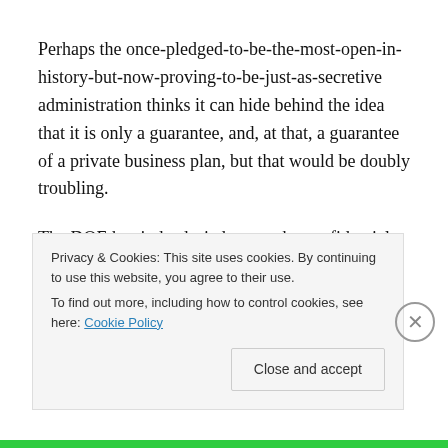Perhaps the once-pledged-to-be-the-most-open-in-history-but-now-proving-to-be-just-as-secretive administration thinks it can hide behind the idea that it is only a guarantee, and, at that, a guarantee of a private business plan, but that would be doubly troubling.
The DOE has indeed tried to use the confidential business argument, but Mindy Goldstein, acting director, Turner Environmental Law Clinic at Emory University School of
Privacy & Cookies: This site uses cookies. By continuing to use this website, you agree to their use.
To find out more, including how to control cookies, see here: Cookie Policy